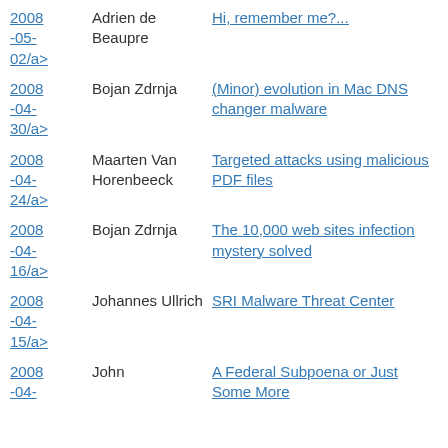2008-05-02/a> | Adrien de Beaupre | Hi, remember me?...
2008-04-30/a> | Bojan Zdrnja | (Minor) evolution in Mac DNS changer malware
2008-04-24/a> | Maarten Van Horenbeeck | Targeted attacks using malicious PDF files
2008-04-16/a> | Bojan Zdrnja | The 10,000 web sites infection mystery solved
2008-04-15/a> | Johannes Ullrich | SRI Malware Threat Center
2008-04- | John | A Federal Subpoena or Just Some More